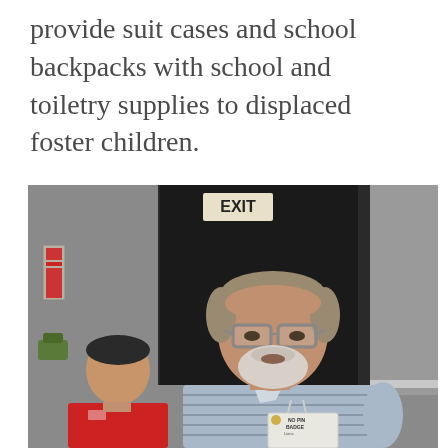provide suit cases and school backpacks with school and toiletry supplies to displaced foster children.
[Figure (photo): A man with gray hair, glasses, and a white beard wearing a light blue striped polo shirt and a name badge stands speaking in front of a dark doorway with an EXIT sign. A younger man in a red shirt is partially visible in the foreground to the left.]